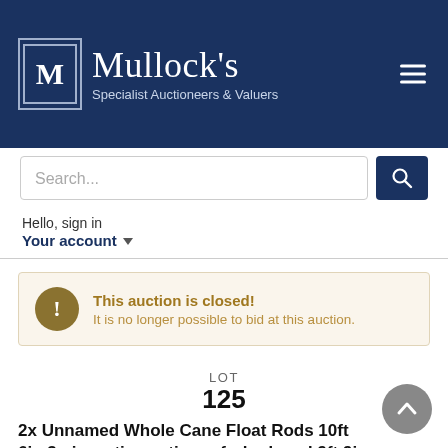[Figure (logo): Mullock's Specialist Auctioneers & Valuers logo with navy blue background, white M in double square border, and hamburger menu icon]
Search...
Hello, sign in
Your account
This auction is closed!
It is no longer possible to bid at this auction.
LOT
125
2x Unnamed Whole Cane Float Rods 10ft 6in 3 piece, tip section refurbed, and 9ft 9in 3 piece